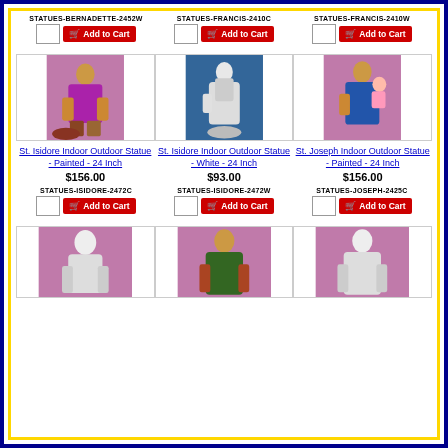STATUES-BERNADETTE-2452W | Add to Cart
STATUES-FRANCIS-2410C | Add to Cart
STATUES-FRANCIS-2410W | Add to Cart
[Figure (photo): St. Isidore Indoor Outdoor Statue - Painted - 24 Inch: colorful painted statue of St. Isidore with animal at feet on pink/purple background]
[Figure (photo): St. Isidore Indoor Outdoor Statue - White - 24 Inch: white unpainted statue of St. Isidore on blue background]
[Figure (photo): St. Joseph Indoor Outdoor Statue - Painted - 24 Inch: painted statue of St. Joseph holding child on pink/purple background]
St. Isidore Indoor Outdoor Statue - Painted - 24 Inch
$156.00
St. Isidore Indoor Outdoor Statue - White - 24 Inch
$93.00
St. Joseph Indoor Outdoor Statue - Painted - 24 Inch
$156.00
STATUES-ISIDORE-2472C | Add to Cart
STATUES-ISIDORE-2472W | Add to Cart
STATUES-JOSEPH-2425C | Add to Cart
[Figure (photo): Partial view of a white/unpainted religious statue on pink/mauve background (bottom row, left)]
[Figure (photo): Partial view of a painted religious statue in green robes on pink/mauve background (bottom row, center)]
[Figure (photo): Partial view of a white/unpainted religious statue on pink/mauve background (bottom row, right)]